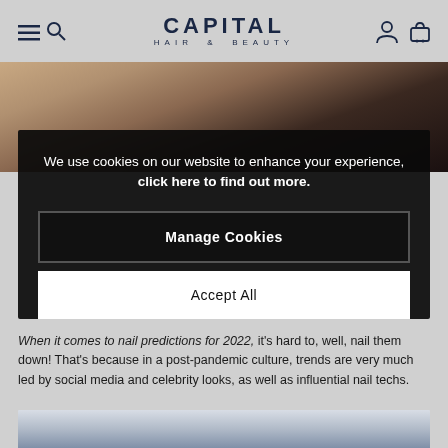CAPITAL HAIR & BEAUTY
[Figure (photo): Close-up of a hand with decorated nails against a dark background]
We use cookies on our website to enhance your experience, click here to find out more.
Manage Cookies
Accept All
When it comes to nail predictions for 2022, it's hard to, well, nail them down! That's because in a post-pandemic culture, trends are very much led by social media and celebrity looks, as well as influential nail techs.
[Figure (photo): Partial bottom photo strip showing dark nail art]